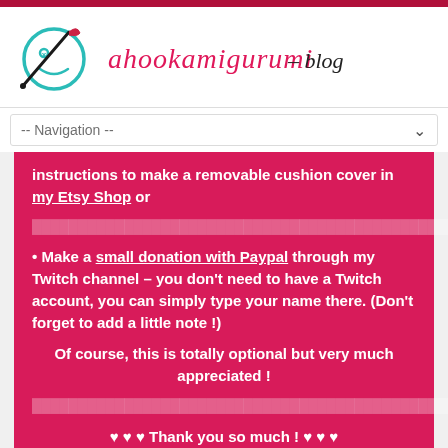[Figure (logo): Ahookamigurumi blog logo with crochet hook icon and handwritten text]
-- Navigation --
instructions to make a removable cushion cover in my Etsy Shop or
• Make a small donation with Paypal through my Twitch channel – you don't need to have a Twitch account, you can simply type your name there. (Don't forget to add a little note !)
Of course, this is totally optional but very much appreciated !
♥ ♥ ♥ Thank you so much ! ♥ ♥ ♥